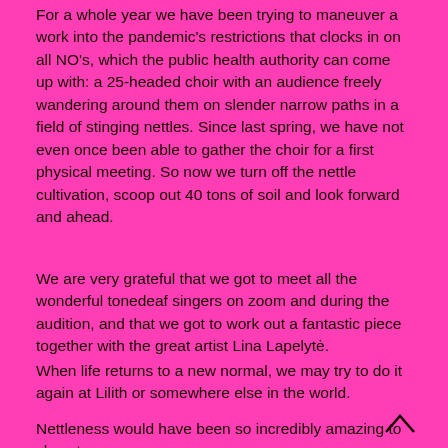For a whole year we have been trying to maneuver a work into the pandemic's restrictions that clocks in on all NO's, which the public health authority can come up with: a 25-headed choir with an audience freely wandering around them on slender narrow paths in a field of stinging nettles. Since last spring, we have not even once been able to gather the choir for a first physical meeting. So now we turn off the nettle cultivation, scoop out 40 tons of soil and look forward and ahead.
We are very grateful that we got to meet all the wonderful tonedeaf singers on zoom and during the audition, and that we got to work out a fantastic piece together with the great artist Lina Lapelytė.
When life returns to a new normal, we may try to do it again at Lilith or somewhere else in the world.
Nettleness would have been so incredibly amazing to show to